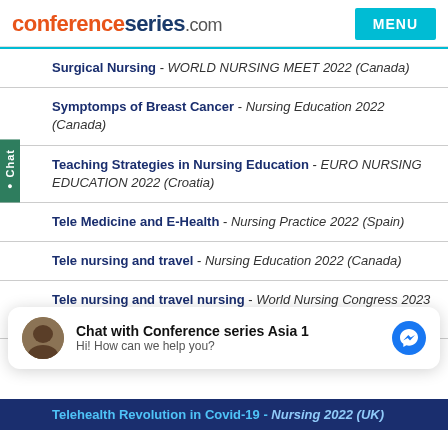conferenceseries.com
Surgical Nursing - WORLD NURSING MEET 2022 (Canada)
Symptomps of Breast Cancer - Nursing Education 2022 (Canada)
Teaching Strategies in Nursing Education - EURO NURSING EDUCATION 2022 (Croatia)
Tele Medicine and E-Health - Nursing Practice 2022 (Spain)
Tele nursing and travel - Nursing Education 2022 (Canada)
Tele nursing and travel nursing - World Nursing Congress 2023 (Netherlands)
Telehealth Revolution in Covid-19 - Nursing 2022 (UK)